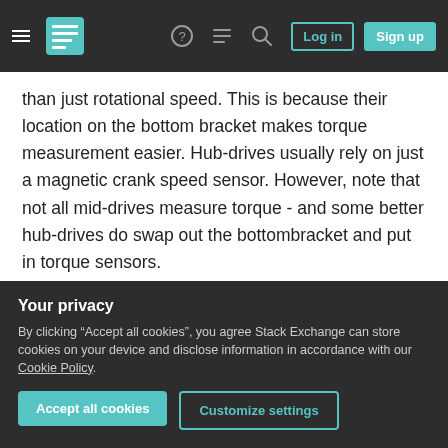Stack Exchange navigation bar with hamburger menu, logo, help, chat, search icons, Log in and Sign up buttons
than just rotational speed. This is because their location on the bottom bracket makes torque measurement easier. Hub-drives usually rely on just a magnetic crank speed sensor. However, note that not all mid-drives measure torque - and some better hub-drives do swap out the bottombracket and put in torque sensors.
In terms of weight and balance, the mid-drive is better located. You want your weight to be low and in the middle. However, geared hub-drives are also
Your privacy
By clicking “Accept all cookies”, you agree Stack Exchange can store cookies on your device and disclose information in accordance with our Cookie Policy.
Accept all cookies
Customize settings